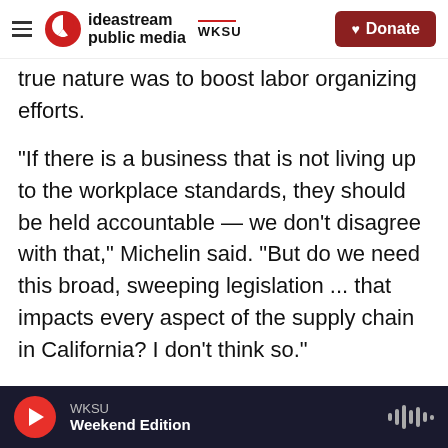ideastream public media | WKSU | Donate
true nature was to boost labor organizing efforts.
"If there is a business that is not living up to the workplace standards, they should be held accountable — we don't disagree with that," Michelin said. "But do we need this broad, sweeping legislation ... that impacts every aspect of the supply chain in California? I don't think so."
California's Republican lawmakers have also argued that companies would be forced to raise prices to offset the costs of the new rules. Michelin and other critics said they would support a plan to
WKSU | Weekend Edition